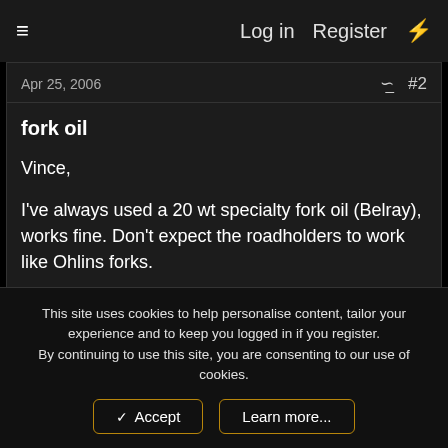Log in   Register
Apr 25, 2006   #2
fork oil
Vince,
I've always used a 20 wt specialty fork oil (Belray), works fine. Don't expect the roadholders to work like Ohlins forks.
hewhoistoolazytologin
This site uses cookies to help personalise content, tailor your experience and to keep you logged in if you register.
By continuing to use this site, you are consenting to our use of cookies.